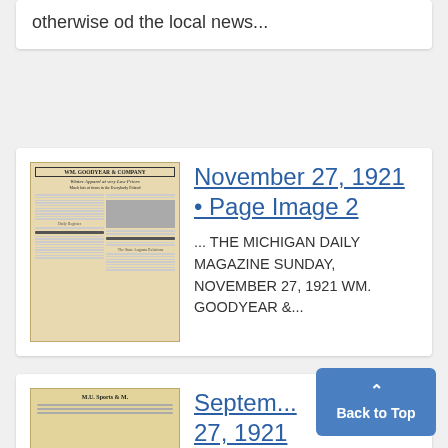otherwise od the local news...
November 27, 1921 • Page Image 2
[Figure (photo): Thumbnail of a newspaper page from November 27, 1921 showing Wm. Goodyear & Company advertisement and article columns with a photo.]
... THE MICHIGAN DAILY MAGAZINE SUNDAY, NOVEMBER 27, 1921 WM. GOODYEAR &...
September 27, 1921
[Figure (photo): Thumbnail of another newspaper page, partially visible.]